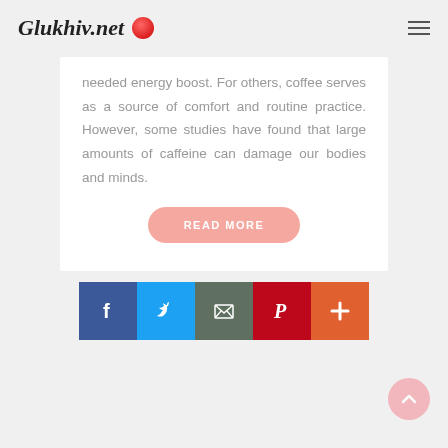Glukhiv.net
needed energy boost. For others, coffee serves as a source of comfort and routine practice. However, some studies have found that large amounts of caffeine can damage our bodies and minds.
READ MORE
[Figure (infographic): Social sharing icons row: Facebook (blue), Twitter (light blue), Email (dark gray), Pinterest (red), Plus/more (orange-red)]